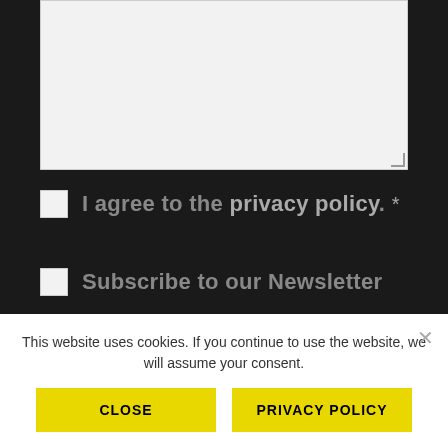[Figure (screenshot): A textarea input field with light gray background and resize handle at bottom-right corner]
I agree to the privacy policy. *
Subscribe to our Newsletter
We will never send you advertising or newsletters
This website uses cookies. If you continue to use the website, we will assume your consent.
CLOSE
PRIVACY POLICY